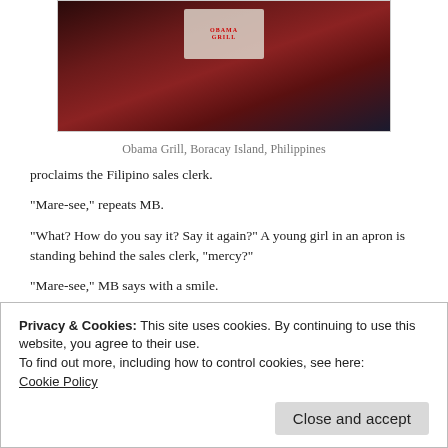[Figure (photo): Partial photo of Obama Grill sign with red/dark food imagery, dimly lit]
Obama Grill, Boracay Island, Philippines
proclaims the Filipino sales clerk.
“Mare-see,” repeats MB.
“What?  How do you say it?  Say it again?”  A young girl in an apron is standing behind the sales clerk, “mercy?”
“Mare-see,” MB says with a smile.
Privacy & Cookies: This site uses cookies. By continuing to use this website, you agree to their use.
To find out more, including how to control cookies, see here:
Cookie Policy